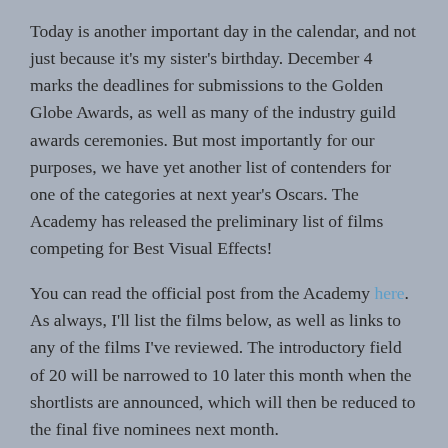Today is another important day in the calendar, and not just because it's my sister's birthday. December 4 marks the deadlines for submissions to the Golden Globe Awards, as well as many of the industry guild awards ceremonies. But most importantly for our purposes, we have yet another list of contenders for one of the categories at next year's Oscars. The Academy has released the preliminary list of films competing for Best Visual Effects!
You can read the official post from the Academy here. As always, I'll list the films below, as well as links to any of the films I've reviewed. The introductory field of 20 will be narrowed to 10 later this month when the shortlists are announced, which will then be reduced to the final five nominees next month.